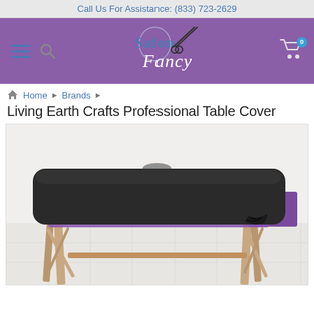Call Us For Assistance: (833) 723-2629
[Figure (logo): Salon Fancy logo with scissors on purple header background]
Home ▶ Brands ▶
Living Earth Crafts Professional Table Cover
[Figure (photo): Black massage table cover fitted over a wooden massage table with purple visible underneath]